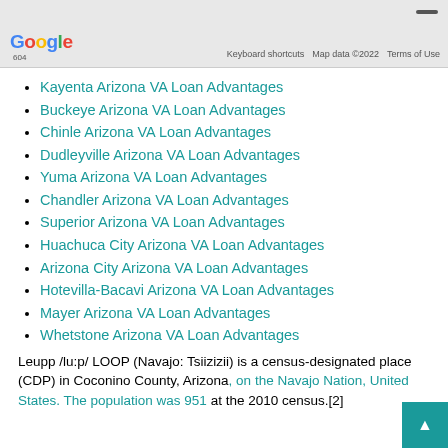[Figure (screenshot): Google Maps screenshot footer bar showing Google logo, keyboard shortcuts, map data 2022, and terms of use text]
Kayenta Arizona VA Loan Advantages
Buckeye Arizona VA Loan Advantages
Chinle Arizona VA Loan Advantages
Dudleyville Arizona VA Loan Advantages
Yuma Arizona VA Loan Advantages
Chandler Arizona VA Loan Advantages
Superior Arizona VA Loan Advantages
Huachuca City Arizona VA Loan Advantages
Arizona City Arizona VA Loan Advantages
Hotevilla-Bacavi Arizona VA Loan Advantages
Mayer Arizona VA Loan Advantages
Whetstone Arizona VA Loan Advantages
Leupp /lu:p/ LOOP (Navajo: Tsiizizii) is a census-designated place (CDP) in Coconino County, Arizona, on the Navajo Nation, United States. The population was 951 at the 2010 census.[2]